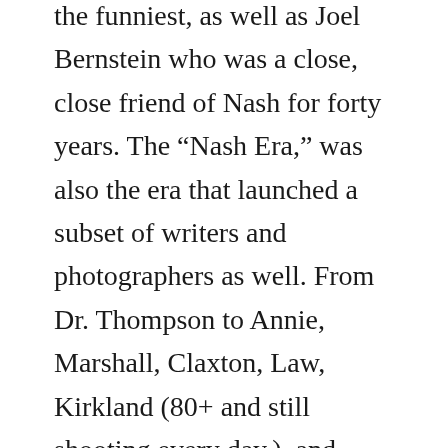the funniest, as well as Joel Bernstein who was a close, close friend of Nash for forty years. The “Nash Era,” was also the era that launched a subset of writers and photographers as well. From Dr. Thompson to Annie, Marshall, Claxton, Law, Kirkland (80+ and still shooting every day.), and many, many more.
For those of you LA types bent on looking at life through a small rectangle, you might remember the print operation